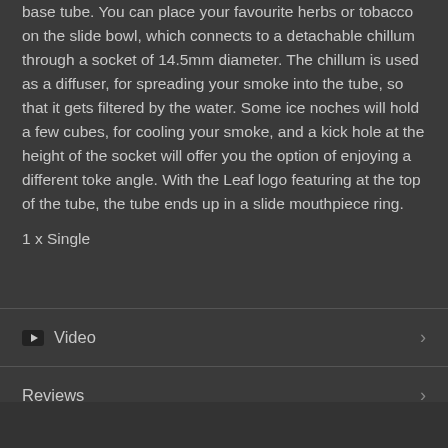base tube. You can place your favourite herbs or tobacco on the slide bowl, which connects to a detachable chillum through a socket of 14.5mm diameter. The chillum is used as a diffuser, for spreading your smoke into the tube, so that it gets filtered by the water. Some ice noches will hold a few cubes, for cooling your smoke, and a kick hole at the height of the socket will offer you the option of enjoying a different toke angle. With the Leaf logo featuring at the top of the tube, the tube ends up in a slide mouthpiece ring.
1 x Single
Video
Reviews
Delivery & Returns